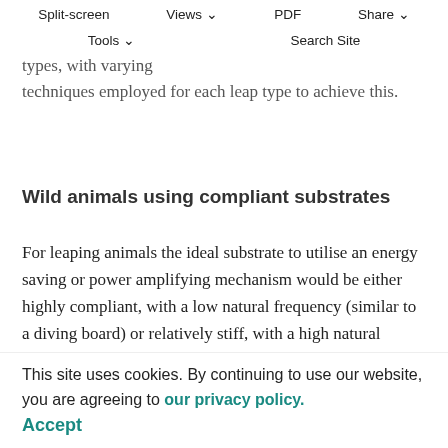Split-screen  Views  PDF  Share  Tools  Search Site
pole as freedom from limitation during leaping, as a desideratum with the two types, with varying techniques employed for each leap type to achieve this.
Wild animals using compliant substrates
For leaping animals the ideal substrate to utilise an energy saving or power amplifying mechanism would be either highly compliant, with a low natural frequency (similar to a diving board) or relatively stiff, with a high natural frequency (like a gymnastic springboard). Tree branches of this nature are likely to be rare because those that are highly compliant are generally very thin and hence lightweight (McMahon and Kronauer, 1976) and branches with a high natural frequency are likely to be too stiff to offer significant elastic energy storage.
This site uses cookies. By continuing to use our website, you are agreeing to our privacy policy. Accept